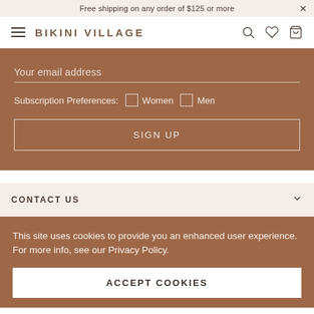Free shipping on any order of $125 or more
[Figure (logo): Bikini Village logo with hamburger menu icon]
Your email address
Subscription Preferences: Women Men
SIGN UP
CONTACT US
This site uses cookies to provide you an enhanced user experience. For more info, see our Privacy Policy.
ACCEPT COOKIES